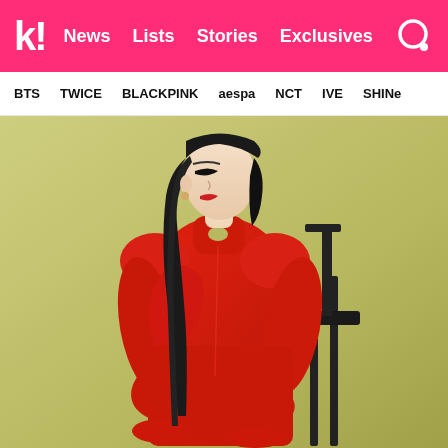k! News Lists Stories Exclusives
BTS TWICE BLACKPINK aespa NCT IVE SHINE
[Figure (photo): A young Asian woman wearing a red outfit (jacket, pants, and heels) sitting on a black chair against a light green-yellow background. She has long straight black hair and is posed looking to the side.]